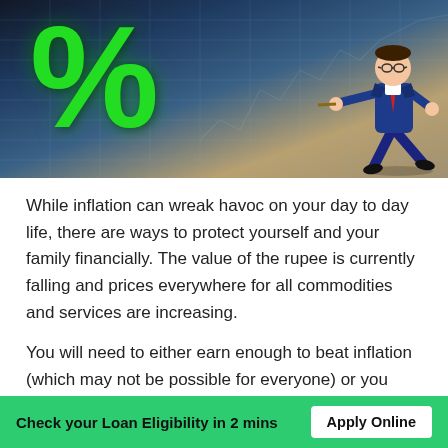[Figure (photo): Hero image showing a large green percentage symbol on the left side with a businessman in a blue suit pulling a rope on the right, set against a dark financial/data background with grid lines and charts.]
While inflation can wreak havoc on your day to day life, there are ways to protect yourself and your family financially. The value of the rupee is currently falling and prices everywhere for all commodities and services are increasing.
You will need to either earn enough to beat inflation (which may not be possible for everyone) or you need to invest
Check your Loan Eligibility in 2 mins   Apply Online